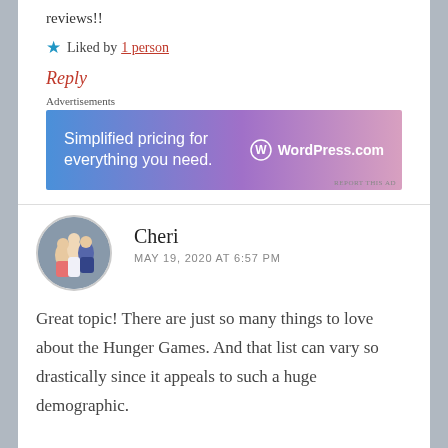reviews!!
★ Liked by 1 person
Reply
Advertisements
[Figure (other): WordPress.com advertisement banner: 'Simplified pricing for everything you need.' with WordPress.com logo]
Cheri
MAY 19, 2020 AT 6:57 PM
[Figure (photo): Circular avatar photo of Cheri, showing a group of people at what appears to be a formal event]
Great topic! There are just so many things to love about the Hunger Games. And that list can vary so drastically since it appeals to such a huge demographic.